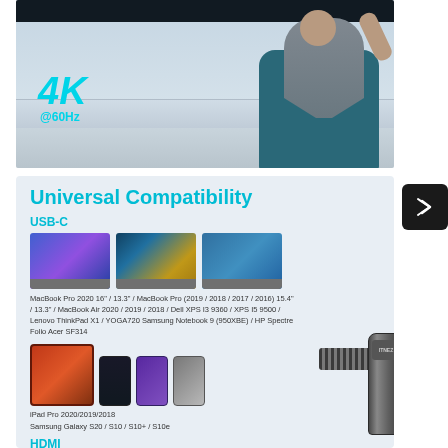[Figure (photo): Man sitting in a teal chair watching a TV screen, with '4K @60Hz' text overlay in cyan]
[Figure (infographic): Universal Compatibility section showing USB-C compatible devices (MacBook Pro, MacBook Air, Dell XPS, Lenovo ThinkPad, Samsung Notebook, HP Spectre, Acer, iPad Pro, Samsung Galaxy phones) and HDMI label, with USB-C cable image]
Universal Compatibility
USB-C
MacBook Pro 2020 16" / 13.3" / MacBook Pro (2019 / 2018 / 2017 / 2016) 15.4" / 13.3" / MacBook Air 2020 / 2019 / 2018 / Dell XPS 13 9360 / XPS 15 9500 / Lenovo ThinkPad X1 / YOGA720 Samsung Notebook 9 (950XBE) / HP Spectre Folio Acer SF314
iPad Pro 2020/2019/2018
Samsung Galaxy S20 / S10 / S10+ / S10e
HDMI